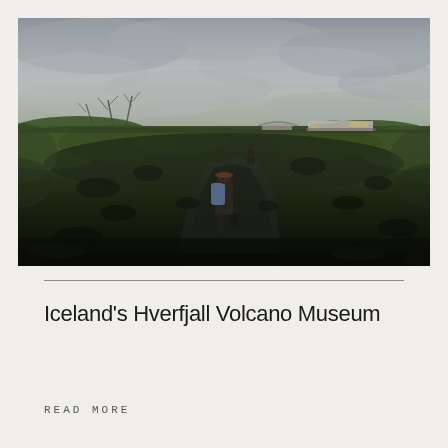[Figure (photo): Outdoor landscape photo of Iceland's volcanic terrain. A person with a backpack is seen from behind walking on a dark rocky path through green mossy ground. The sky is overcast and grey. In the distance there is a modern low-lying building (the Hverfjall Volcano Museum) and another figure further along the path. Dead trees are visible on the left.]
Iceland's Hverfjall Volcano Museum
READ MORE